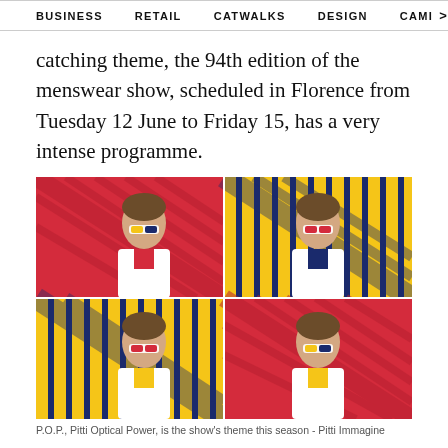BUSINESS   RETAIL   CATWALKS   DESIGN   CAMI >
catching theme, the 94th edition of the menswear show, scheduled in Florence from Tuesday 12 June to Friday 15, has a very intense programme.
[Figure (photo): Four-panel pop-art style photograph showing a young man in a white coat and pop-art optical glasses, posed against colorful geometric striped backgrounds in red, yellow, and navy blue. The four panels show alternating color combinations creating an optical illusion effect. P.O.P. - Pitti Optical Power theme imagery for Pitti Immagine.]
P.O.P., Pitti Optical Power, is the show's theme this season - Pitti Immagine